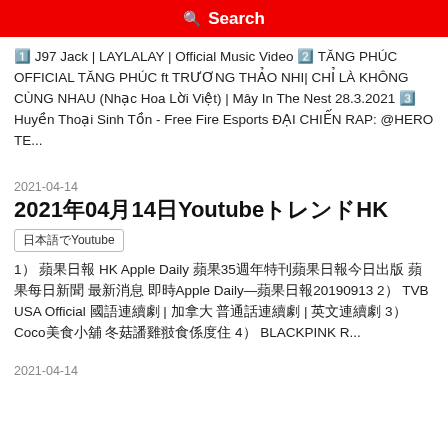Search
1️⃣ J97 Jack | LAYLALAY | Official Music Video 2️⃣ TĂNG PHÚC OFFICIAL TĂNG PHÚC ft TRƯƠNG THẢO NHI| CHỈ LÀ KHÔNG CÙNG NHAU (Nhạc Hoa Lời Việt) | Mây In The Nest 28.3.2021 3️⃣ Huyền Thoại Sinh Tồn - Free Fire Esports ĐẠI CHIẾN RAP: @HERO TE...
2021-04-14
2021年04月14日YoutubeトレンドHK
日本語でYoutube
1️⃣ 蘋果日報 HK Apple Daily 蘋果35週年特刊蘋果日報今日出版 蘋果每日新聞 最新消息 即時Apple Daily—蘋果日報20190913 2️⃣ TVB USA Official 國語連續劇 | 加拿大 普通話連續劇 | 英文連續劇 3️⃣ Coco美食小鋪 冬菇蒸雞翼食係度住 4️⃣ BLACKPINK R...
2021-04-14